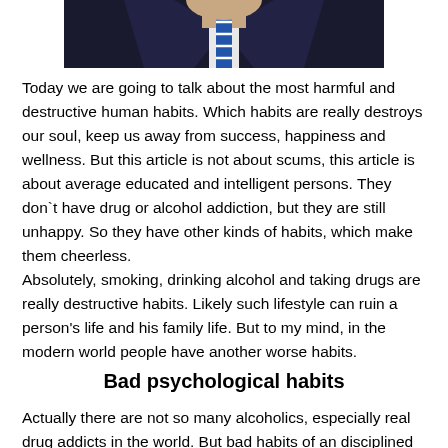[Figure (photo): Partial photo of a person in a dark suit with a striped tie, cropped at the shoulders and head area visible at top.]
Today we are going to talk about the most harmful and destructive human habits. Which habits are really destroys our soul, keep us away from success, happiness and wellness. But this article is not about scums, this article is about average educated and intelligent persons. They don`t have drug or alcohol addiction, but they are still unhappy. So they have other kinds of habits, which make them cheerless.
Absolutely, smoking, drinking alcohol and taking drugs are really destructive habits. Likely such lifestyle can ruin a person's life and his family life. But to my mind, in the modern world people have another worse habits.
Bad psychological habits
Actually there are not so many alcoholics, especially real drug addicts in the world. But bad habits of an disciplined person...